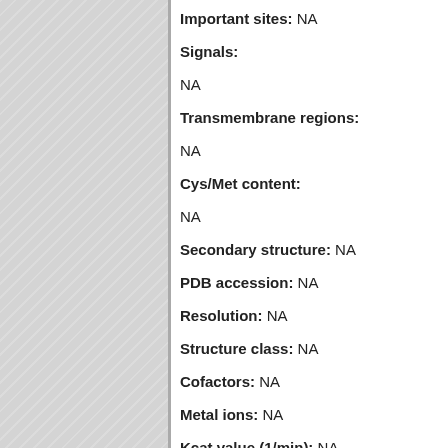Important sites: NA
Signals:
NA
Transmembrane regions:
NA
Cys/Met content:
NA
Secondary structure: NA
PDB accession: NA
Resolution: NA
Structure class: NA
Cofactors: NA
Metal ions: NA
Kcat value (1/min): NA